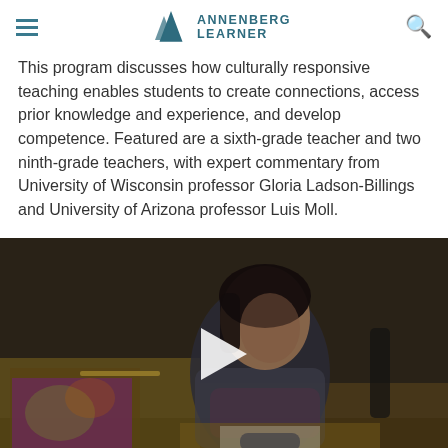Annenberg Learner
This program discusses how culturally responsive teaching enables students to create connections, access prior knowledge and experience, and develop competence. Featured are a sixth-grade teacher and two ninth-grade teachers, with expert commentary from University of Wisconsin professor Gloria Ladson-Billings and University of Arizona professor Luis Moll.
[Figure (screenshot): Video thumbnail showing a young girl sitting at a school desk, writing, with school supplies visible. A white play button triangle is overlaid in the center of the image.]